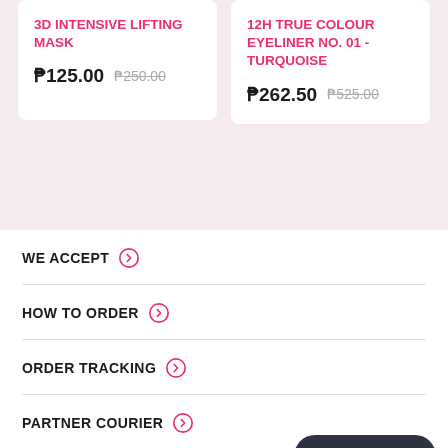3D INTENSIVE LIFTING MASK
₱125.00  ₱250.00
12H TRUE COLOUR EYELINER NO. 01 - TURQUOISE
₱262.50  ₱525.00
WE ACCEPT →
HOW TO ORDER →
ORDER TRACKING →
PARTNER COURIER →
Chat with us